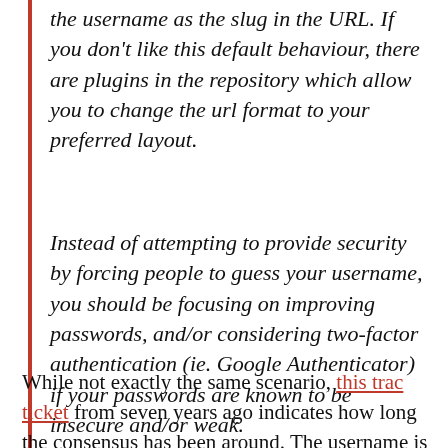the username as the slug in the URL. If you don't like this default behaviour, there are plugins in the repository which allow you to change the url format to your preferred layout.
Instead of attempting to provide security by forcing people to guess your username, you should be focusing on improving passwords, and/or considering two-factor authentication (ie. Google Authenticator) if your passwords are known to be insecure and/or weak.
While not exactly the same scenario, this trac ticket from seven years ago indicates how long the consensus has been around. The username is treated as common knowledge since it's not difficult to